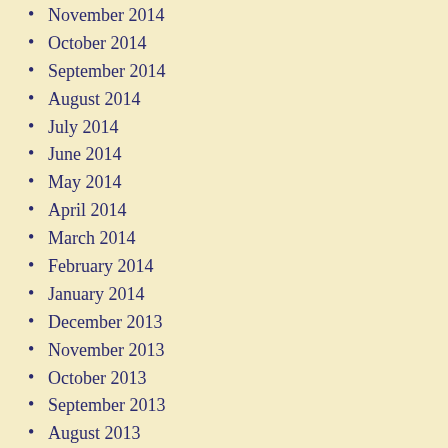November 2014
October 2014
September 2014
August 2014
July 2014
June 2014
May 2014
April 2014
March 2014
February 2014
January 2014
December 2013
November 2013
October 2013
September 2013
August 2013
July 2013
June 2013
May 2013
April 2013
March 2013
February 2013
January 2013